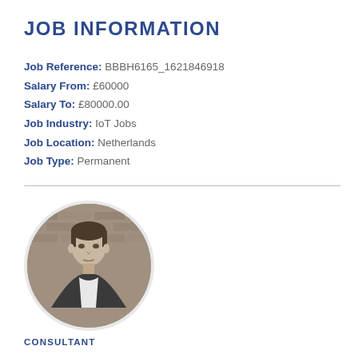JOB INFORMATION
Job Reference: BBBH6165_1621846918
Salary From: £60000
Salary To: £80000.00
Job Industry: IoT Jobs
Job Location: Netherlands
Job Type: Permanent
[Figure (photo): Circular black-and-white headshot photo of a young man in front of a brick wall background]
CONSULTANT